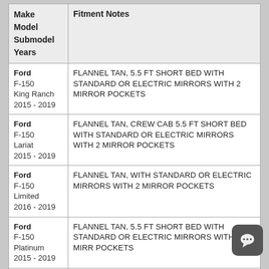| Make
Model
Submodel
Years | Fitment Notes |
| --- | --- |
| Ford
F-150
King Ranch
2015 - 2019 | FLANNEL TAN, 5.5 FT SHORT BED WITH STANDARD OR ELECTRIC MIRRORS WITH 2 MIRROR POCKETS |
| Ford
F-150
Lariat
2015 - 2019 | FLANNEL TAN, CREW CAB 5.5 FT SHORT BED WITH STANDARD OR ELECTRIC MIRRORS WITH 2 MIRROR POCKETS |
| Ford
F-150
Limited
2016 - 2019 | FLANNEL TAN, WITH STANDARD OR ELECTRIC MIRRORS WITH 2 MIRROR POCKETS |
| Ford
F-150
Platinum
2015 - 2019 | FLANNEL TAN, 5.5 FT SHORT BED WITH STANDARD OR ELECTRIC MIRRORS WITH 2 MIRROR POCKETS |
| Ford | FLANNEL TAN, CREW CAB WITH STANDARD OR |